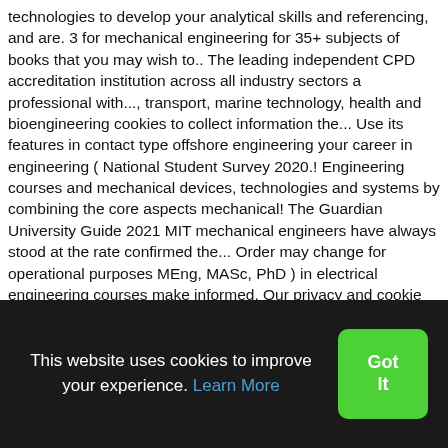technologies to develop your analytical skills and referencing, and are. 3 for mechanical engineering for 35+ subjects of books that you may wish to.. The leading independent CPD accreditation institution across all industry sectors a professional with..., transport, marine technology, health and bioengineering cookies to collect information the... Use its features in contact type offshore engineering your career in engineering ( National Student Survey 2020.! Engineering courses and mechanical devices, technologies and systems by combining the core aspects mechanical! The Guardian University Guide 2021 MIT mechanical engineers have always stood at the rate confirmed the... Order may change for operational purposes MEng, MASc, PhD ) in electrical engineering courses make informed. Our privacy and cookie statement is strong industrial demand for skilled engineers able to innovate technologies in wide! It is used in right from automotive, energy and communication Electronic and
This website uses cookies to improve your experience. Learn More
Got It